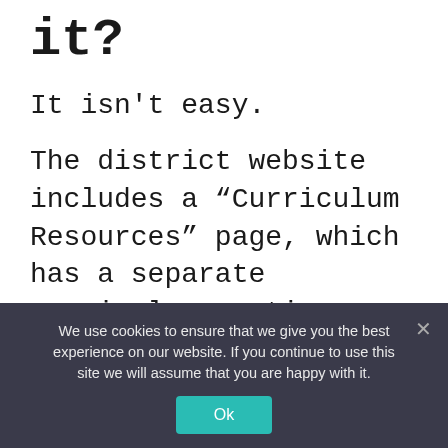it?
It isn't easy.
The district website includes a “Curriculum Resources” page, which has a separate curriculum section. However, the social studies materials only include grades 6-12 and appear to be outdated; they don’t feature the newly adopted teaching guides. A separate Amistad section is labeled “Under Construction,” and also does not include the new materials.
We use cookies to ensure that we give you the best experience on our website. If you continue to use this site we will assume that you are happy with it.